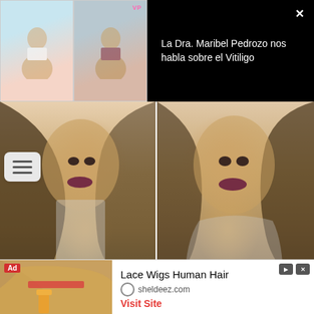[Figure (screenshot): Video thumbnail showing two women in a video call interface with VP badge, on a teal/blue background]
La Dra. Maribel Pedrozo nos habla sobre el Vitiligo
[Figure (photo): Close-up photo of a woman with brown hair, dark eye makeup, and dark burgundy lips on left side]
[Figure (photo): Close-up photo of a woman with brown hair, dark eye makeup, and dark burgundy lips on right side]
[Figure (photo): Partial bottom row photos of women with hair]
[Figure (photo): Ad image showing hair being colored with a brush, red and orange tones]
Lace Wigs Human Hair
sheldeez.com
Visit Site